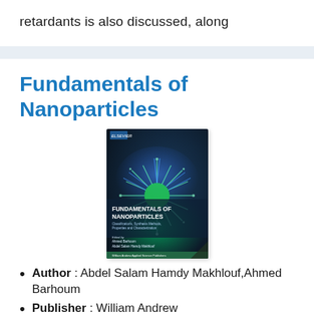retardants is also discussed, along
[Figure (illustration): Book cover of Fundamentals of Nanoparticles showing a blue-green spiky nanoparticle structure on a dark background with text 'FUNDAMENTALS OF NANOPARTICLES' and editors Ahmed Barhoum, Abdel Salam Hamdy Makhlouf]
Fundamentals of Nanoparticles
Author : Abdel Salam Hamdy Makhlouf,Ahmed Barhoum
Publisher : William Andrew